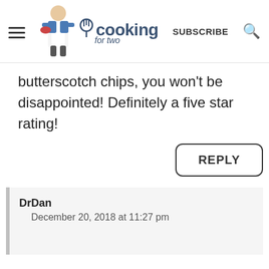cooking for two — SUBSCRIBE
butterscotch chips, you won't be disappointed! Definitely a five star rating!
REPLY
DrDan
December 20, 2018 at 11:27 pm
Hi Susan,
Welcome to the blog...